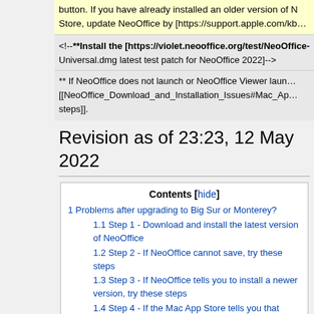button. If you have already installed an older version of NeoOffice from the Mac App Store, update NeoOffice by [https://support.apple.com/kb...]
<!--**Install the [https://violet.neooffice.org/test/NeoOffice-Universal.dmg latest test patch for NeoOffice 2022]-->
** If NeoOffice does not launch or NeoOffice Viewer launches [[NeoOffice_Download_and_Installation_Issues#Mac_Ap... steps]].
Revision as of 23:23, 12 May 2022
Contents [hide]
1 Problems after upgrading to Big Sur or Monterey?
1.1 Step 1 - Download and install the latest version of NeoOffice
1.2 Step 2 - If NeoOffice cannot save, try these steps
1.3 Step 3 - If NeoOffice tells you to install a newer version, try these steps
1.4 Step 4 - If the Mac App Store tells you that NeoOffice is already installed, try these steps